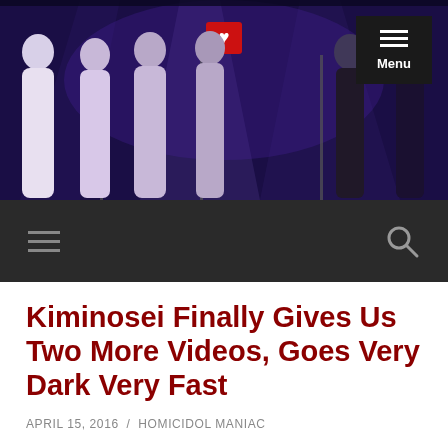[Figure (photo): Header banner photo of idol group performers on a dark purple stage, with a red heart logo icon visible and a black Menu button in the top right corner]
[Figure (screenshot): Navigation bar with hamburger menu icon on left and search icon on right, on dark background]
Kiminosei Finally Gives Us Two More Videos, Goes Very Dark Very Fast
APRIL 15, 2016 / HOMICIDOL MANIAC
Usually, when you see tweets like this, it's time to get hype: